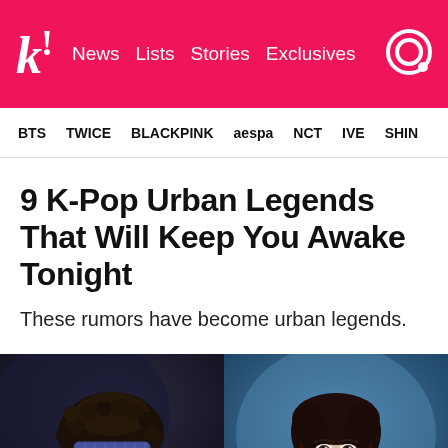k! | News  Lists  Stories  Exclusives
BTS  TWICE  BLACKPINK  aespa  NCT  IVE  SHINe
9 K-Pop Urban Legends That Will Keep You Awake Tonight
These rumors have become urban legends.
[Figure (photo): Two K-pop artists side by side: on the left, a person with curly hair pulled up, wearing a headband and sunglasses, showing neck tattoos; on the right, a woman with long dark wavy hair wearing a chain necklace, photographed against a blue background.]